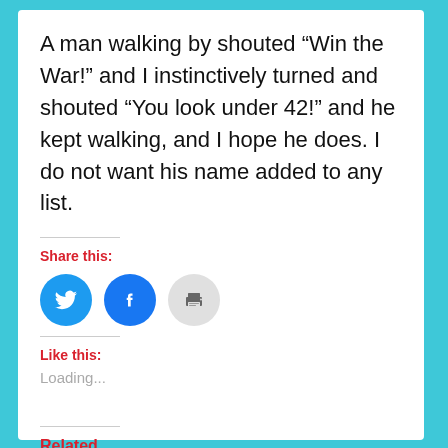A man walking by shouted “Win the War!” and I instinctively turned and shouted “You look under 42!” and he kept walking, and I hope he does. I do not want his name added to any list.
Share this:
[Figure (infographic): Three social sharing icon buttons: Twitter (blue circle with bird icon), Facebook (blue circle with f icon), Print (grey circle with printer icon)]
Like this:
Loading...
Related
Iraq War Among World's
The Russian Military Asked